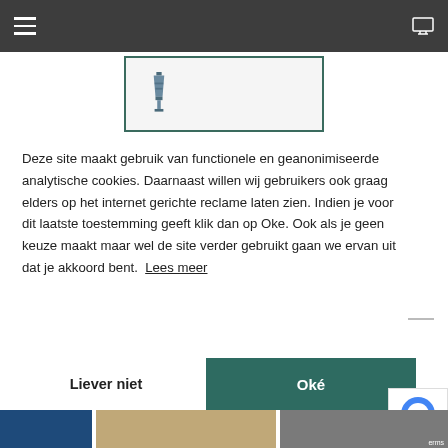[Figure (screenshot): Dark navigation bar with hamburger menu icon on left and monitor icon on right]
[Figure (logo): Lighthouse logo inside a teal-bordered rectangle]
Deze site maakt gebruik van functionele en geanonimiseerde analytische cookies. Daarnaast willen wij gebruikers ook graag elders op het internet gerichte reclame laten zien. Indien je voor dit laatste toestemming geeft klik dan op Oke. Ook als je geen keuze maakt maar wel de site verder gebruikt gaan we ervan uit dat je akkoord bent.  Lees meer
Liever niet
Oké
[Figure (photo): Bottom strip with three partial photos]